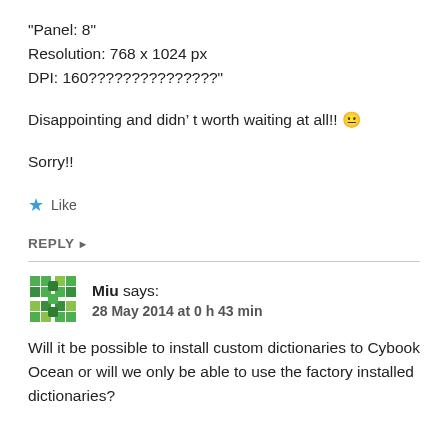“Panel: 8”
Resolution: 768 x 1024 px
DPI: 160???????????????”
Disappointing and didn’ t worth waiting at all!! 😐
Sorry!!
★ Like
REPLY ▸
Miu says: 28 May 2014 at 0 h 43 min
Will it be possible to install custom dictionaries to Cybook Ocean or will we only be able to use the factory installed dictionaries?